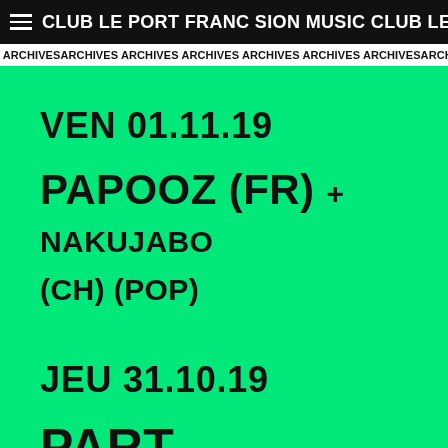CLUB LE PORT FRANC SION MUSIC CLUB LE PO
ARCHIVES ARCHIVES ARCHIVES ARCHIVES ARCHIVES ARCHIVES ARCHIV
VEN 01.11.19
PAPOOZ (FR) + NAKUJABO (CH) (POP)
JEU 31.10.19
PART